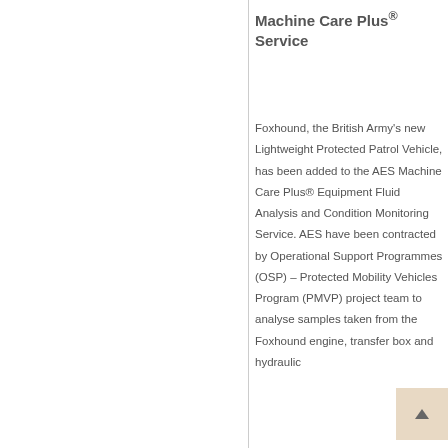Machine Care Plus® Service
Foxhound, the British Army's new Lightweight Protected Patrol Vehicle, has been added to the AES Machine Care Plus® Equipment Fluid Analysis and Condition Monitoring Service. AES have been contracted by Operational Support Programmes (OSP) – Protected Mobility Vehicles Program (PMVP) project team to analyse samples taken from the Foxhound engine, transfer box and hydraulic